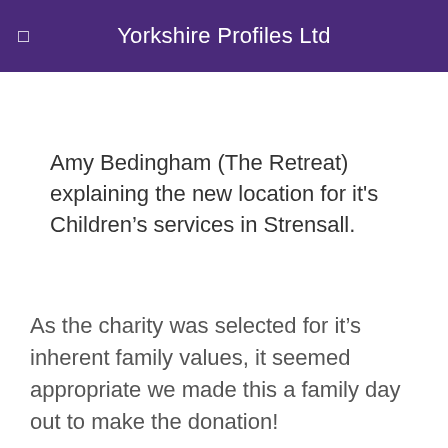Yorkshire Profiles Ltd
Amy Bedingham (The Retreat) explaining the new location for it's Children's services in Strensall.
As the charity was selected for it's inherent family values, it seemed appropriate we made this a family day out to make the donation!